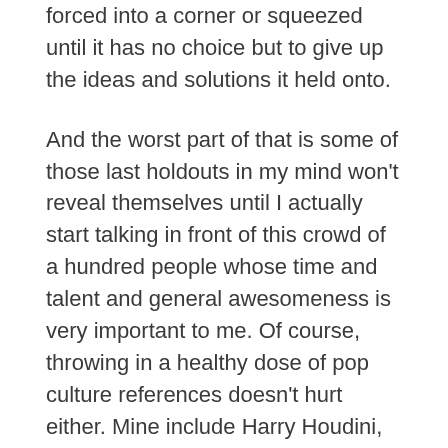something from it seems to have to be forced into a corner or squeezed until it has no choice but to give up the ideas and solutions it held onto.
And the worst part of that is some of those last holdouts in my mind won't reveal themselves until I actually start talking in front of this crowd of a hundred people whose time and talent and general awesomeness is very important to me. Of course, throwing in a healthy dose of pop culture references doesn't hurt either. Mine include Harry Houdini, The Monkees, Doctor Who, Julia Child, Daft Punk, David Foster Wallace, David Byrne, Cher, George Burns, Douglas Adams, and Kurt Vonnegut, among others.